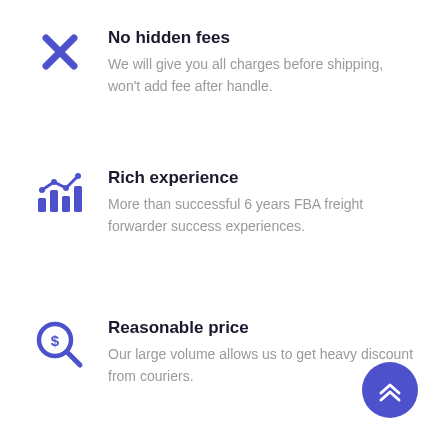No hidden fees – We will give you all charges before shipping, won't add fee after handle.
Rich experience – More than successful 6 years FBA freight forwarder success experiences.
Reasonable price – Our large volume allows us to get heavy discount from couriers.
[Figure (illustration): Blue circular scroll-to-top button with double chevron up arrow in white]